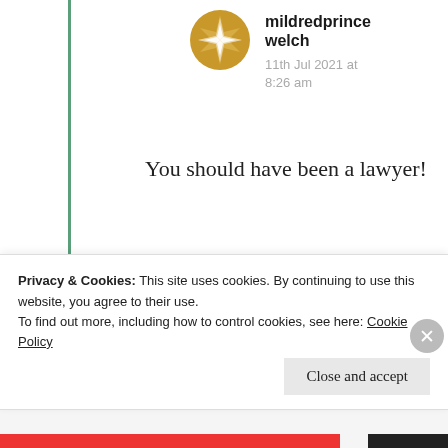[Figure (illustration): Golden compass/star avatar icon for user mildredprince welch]
mildredprince welch
11th Jul 2021 at 8:26 am
You should have been a lawyer!
★ Like
Privacy & Cookies: This site uses cookies. By continuing to use this website, you agree to their use.
To find out more, including how to control cookies, see here: Cookie Policy
Close and accept